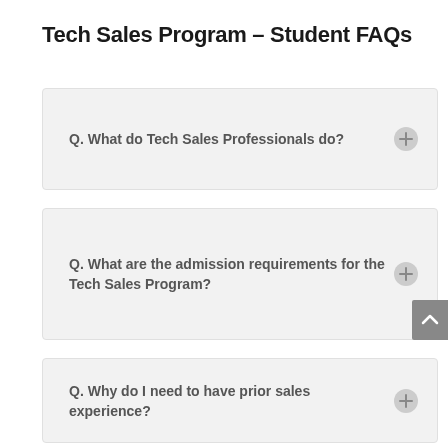Tech Sales Program – Student FAQs
Q. What do Tech Sales Professionals do?
Q. What are the admission requirements for the Tech Sales Program?
Q. Why do I need to have prior sales experience?